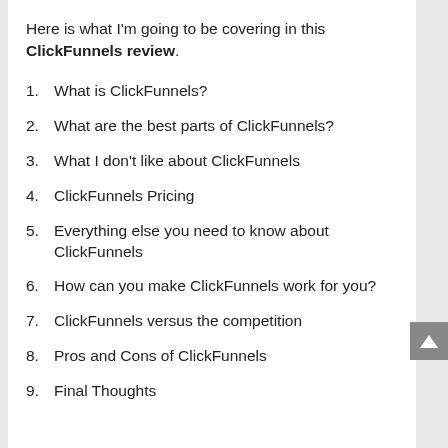Here is what I'm going to be covering in this ClickFunnels review.
1. What is ClickFunnels?
2. What are the best parts of ClickFunnels?
3. What I don't like about ClickFunnels
4. ClickFunnels Pricing
5. Everything else you need to know about ClickFunnels
6. How can you make ClickFunnels work for you?
7. ClickFunnels versus the competition
8. Pros and Cons of ClickFunnels
9. Final Thoughts